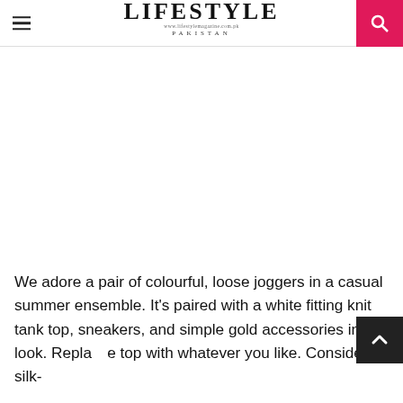LIFESTYLE PAKISTAN — www.lifestylemagazine.com.pk
[Figure (photo): White/blank image area representing a fashion photograph (image not loaded)]
We adore a pair of colourful, loose joggers in a casual summer ensemble. It's paired with a white fitting knit tank top, sneakers, and simple gold accessories in this look. Replace top with whatever you like. Consider a silk-